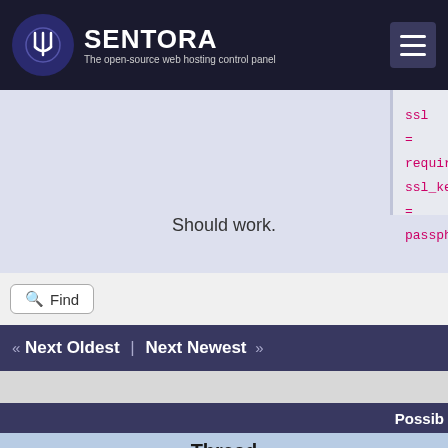SENTORA — The open-source web hosting control panel
ssl = required
ssl_key_password = passphrase
Should work.
Find
« Next Oldest | Next Newest »
Possib
Thread
1.0.2 1.0.3 postfix fix not work
Postfix relay specific domains to mailjet